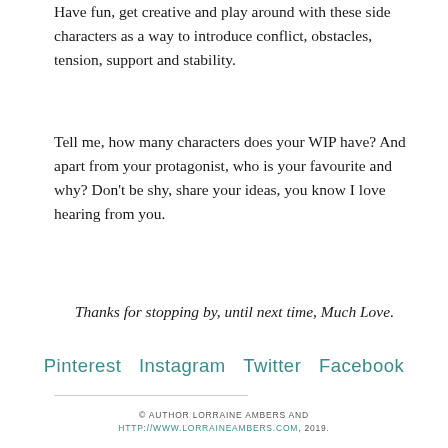Have fun, get creative and play around with these side characters as a way to introduce conflict, obstacles, tension, support and stability.
Tell me, how many characters does your WIP have? And apart from your protagonist, who is your favourite and why? Don’t be shy, share your ideas, you know I love hearing from you.
Thanks for stopping by, until next time, Much Love.
Pinterest  Instagram  Twitter  Facebook
© AUTHOR LORRAINE AMBERS AND HTTP://WWW.LORRAINEAMBERS.COM, 2019.